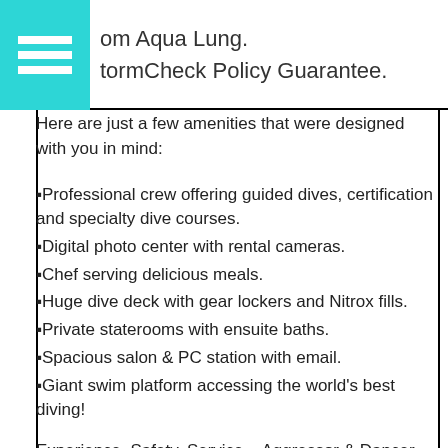om Aqua Lung.
tormCheck Policy Guarantee.
Here are just a few amenities that were designed with you in mind:
Professional crew offering guided dives, certification and specialty dive courses.
Digital photo center with rental cameras.
Chef serving delicious meals.
Huge dive deck with gear lockers and Nitrox fills.
Private staterooms with ensuite baths.
Spacious salon & PC station with email.
Giant swim platform accessing the world's best diving!
Experience, Safety, Service... Aggressor & Dancer yachts set the standard for liveaboards today.